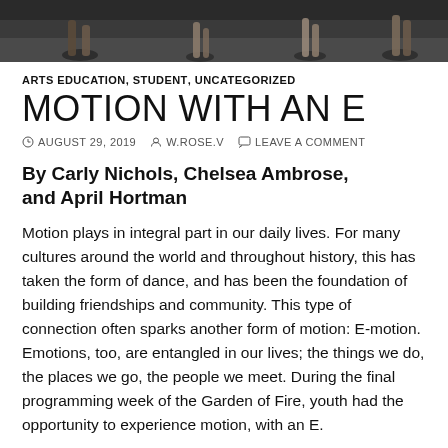[Figure (photo): Photo strip at top showing dancers' feet and legs on a dark floor]
ARTS EDUCATION, STUDENT, UNCATEGORIZED
MOTION WITH AN E
AUGUST 29, 2019   W.ROSE.V   LEAVE A COMMENT
By Carly Nichols, Chelsea Ambrose, and April Hortman
Motion plays in integral part in our daily lives.  For many cultures around the world and throughout history, this has taken the form of dance, and has been the foundation of building friendships and community.  This type of connection often sparks another form of motion: E-motion.  Emotions, too, are entangled in our lives; the things we do, the places we go, the people we meet.  During the final programming week of the Garden of Fire, youth had the opportunity to experience motion, with an E.